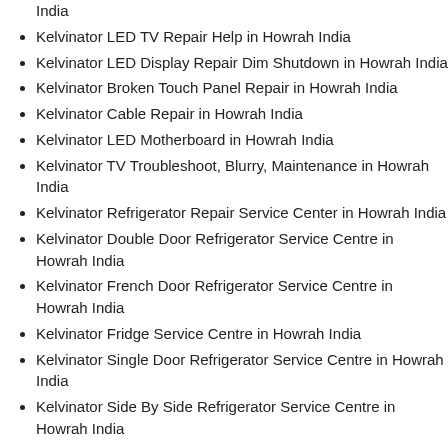India
Kelvinator LED TV Repair Help in Howrah India
Kelvinator LED Display Repair Dim Shutdown in Howrah India
Kelvinator Broken Touch Panel Repair in Howrah India
Kelvinator Cable Repair in Howrah India
Kelvinator LED Motherboard in Howrah India
Kelvinator TV Troubleshoot, Blurry, Maintenance in Howrah India
Kelvinator Refrigerator Repair Service Center in Howrah India
Kelvinator Double Door Refrigerator Service Centre in Howrah India
Kelvinator French Door Refrigerator Service Centre in Howrah India
Kelvinator Fridge Service Centre in Howrah India
Kelvinator Single Door Refrigerator Service Centre in Howrah India
Kelvinator Side By Side Refrigerator Service Centre in Howrah India
Kelvinator Bottom Freezer Refrigerator Service Centre in